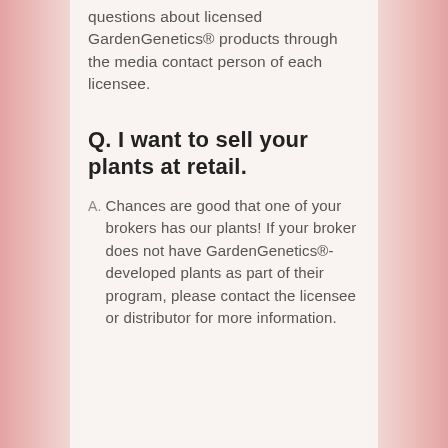questions about licensed GardenGenetics® products through the media contact person of each licensee.
Q. I want to sell your plants at retail.
A. Chances are good that one of your brokers has our plants! If your broker does not have GardenGenetics®-developed plants as part of their program, please contact the licensee or distributor for more information.